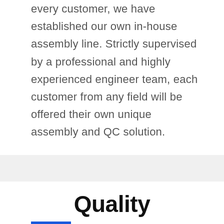every customer, we have established our own in-house assembly line. Strictly supervised by a professional and highly experienced engineer team, each customer from any field will be offered their own unique assembly and QC solution.
02
Quality